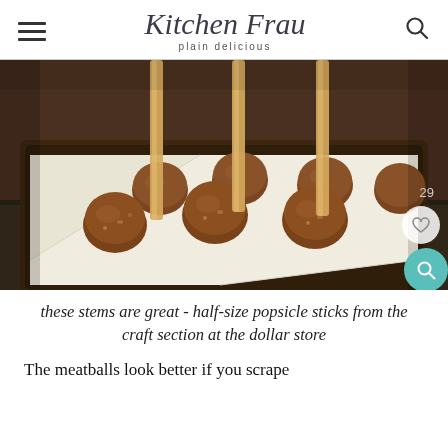Kitchen Frau — plain delicious
[Figure (photo): Meatballs on popsicle sticks arranged on a parchment-lined baking tray, on a granite countertop. A badge showing 29 saves and a heart icon are visible in the bottom right.]
these stems are great - half-size popsicle sticks from the craft section at the dollar store
The meatballs look better if you scrape